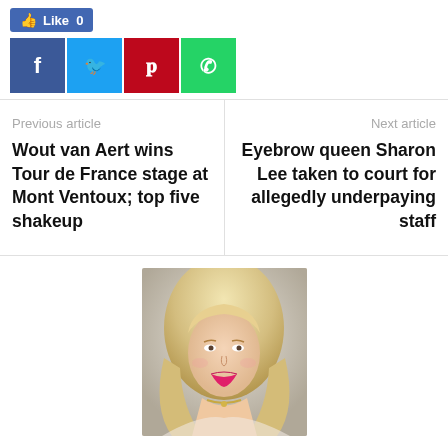[Figure (other): Social media share bar with Like button (0 likes) and four share icons: Facebook (blue), Twitter (cyan), Pinterest (red), WhatsApp (green)]
Previous article
Wout van Aert wins Tour de France stage at Mont Ventoux; top five shakeup
Next article
Eyebrow queen Sharon Lee taken to court for allegedly underpaying staff
[Figure (photo): Headshot of Natalie Zadow, a blonde woman with long wavy hair, wearing pink lipstick and a necklace, smiling at the camera against a light background.]
Natalie Zadow
http://upblog.com.au
Natalie Zadow is a 26-year-old government politician who enjoys social media, tennis and escapology. She is brave and stable, but can also be very lazy and a bit rude. She is an australian Christian who defines herself as straight. She has